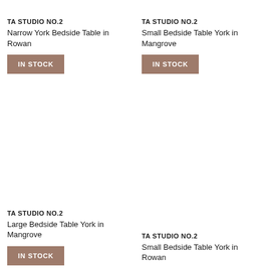TA STUDIO NO.2
Narrow York Bedside Table in Rowan
IN STOCK
TA STUDIO NO.2
Small Bedside Table York in Mangrove
IN STOCK
TA STUDIO NO.2
Large Bedside Table York in Mangrove
IN STOCK
TA STUDIO NO.2
Small Bedside Table York in Rowan